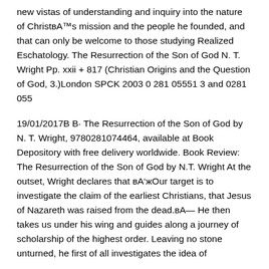new vistas of understanding and inquiry into the nature of Christ's mission and the people he founded, and that can only be welcome to those studying Realized Eschatology. The Resurrection of the Son of God N. T. Wright Pp. xxii + 817 (Christian Origins and the Question of God, 3.)London SPCK 2003 0 281 05551 3 and 0281 055
19/01/2017В В· The Resurrection of the Son of God by N. T. Wright, 9780281074464, available at Book Depository with free delivery worldwide. Book Review: The Resurrection of the Son of God by N.T. Wright At the outset, Wright declares that вЂњOur target is to investigate the claim of the earliest Christians, that Jesus of Nazareth was raised from the dead.вЂќ He then takes us under his wing and guides along a journey of scholarship of the highest order. Leaving no stone unturned, he first of all investigates the idea of